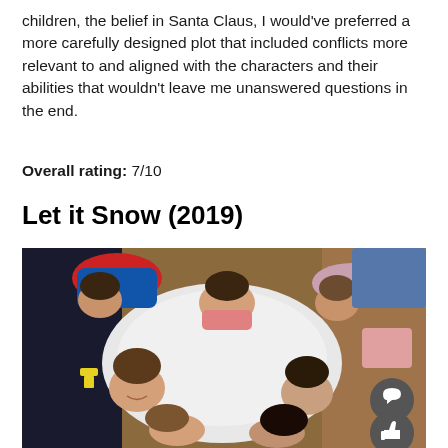children, the belief in Santa Claus, I would've preferred a more carefully designed plot that included conflicts more relevant to and aligned with the characters and their abilities that wouldn't leave me unanswered questions in the end.
Overall rating: 7/10
Let it Snow (2019)
[Figure (photo): Group of young people lying on the floor in a circle, viewed from above. They are wearing colorful winter clothes. Two circular dark UI buttons visible at the bottom right: a comment/speech bubble icon and a thumbs up/like icon.]